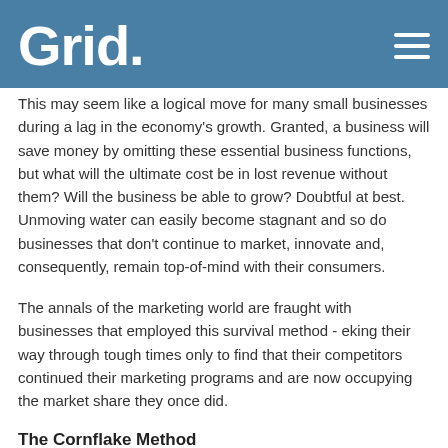Grid.
This may seem like a logical move for many small businesses during a lag in the economy's growth. Granted, a business will save money by omitting these essential business functions, but what will the ultimate cost be in lost revenue without them? Will the business be able to grow? Doubtful at best. Unmoving water can easily become stagnant and so do businesses that don't continue to market, innovate and, consequently, remain top-of-mind with their consumers.
The annals of the marketing world are fraught with businesses that employed this survival method - eking their way through tough times only to find that their competitors continued their marketing programs and are now occupying the market share they once did.
The Cornflake Method